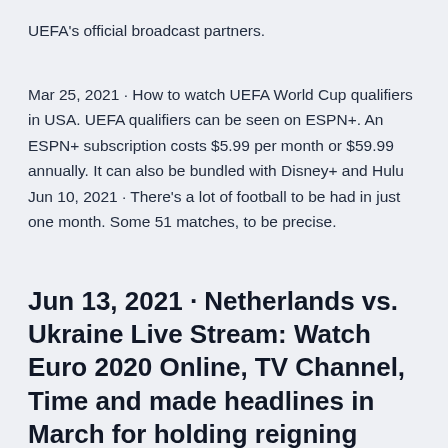UEFA's official broadcast partners.
Mar 25, 2021 · How to watch UEFA World Cup qualifiers in USA. UEFA qualifiers can be seen on ESPN+. An ESPN+ subscription costs $5.99 per month or $59.99 annually. It can also be bundled with Disney+ and Hulu Jun 10, 2021 · There's a lot of football to be had in just one month. Some 51 matches, to be precise.
Jun 13, 2021 · Netherlands vs. Ukraine Live Stream: Watch Euro 2020 Online, TV Channel, Time and made headlines in March for holding reigning world-champion France to a 1-1 draw in World Cup